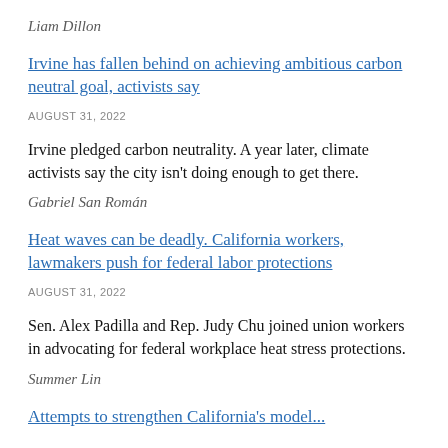Liam Dillon
Irvine has fallen behind on achieving ambitious carbon neutral goal, activists say
AUGUST 31, 2022
Irvine pledged carbon neutrality. A year later, climate activists say the city isn’t doing enough to get there.
Gabriel San Román
Heat waves can be deadly. California workers, lawmakers push for federal labor protections
AUGUST 31, 2022
Sen. Alex Padilla and Rep. Judy Chu joined union workers in advocating for federal workplace heat stress protections.
Summer Lin
Attempts to strengthen California’s model...